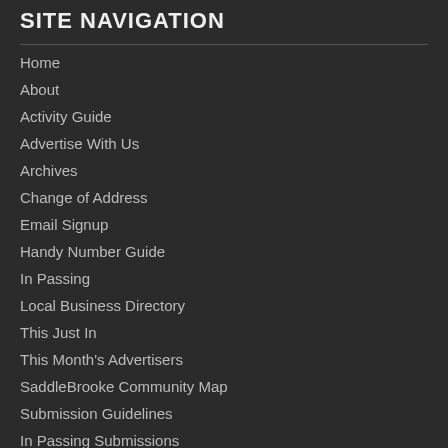SITE NAVIGATION
Home
About
Activity Guide
Advertise With Us
Archives
Change of Address
Email Signup
Handy Number Guide
In Passing
Local Business Directory
This Just In
This Month's Advertisers
SaddleBrooke Community Map
Submission Guidelines
In Passing Submissions
Submit Article for Publication